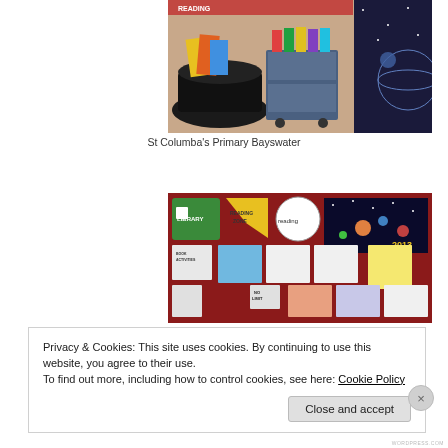[Figure (photo): Library book display with books on a round table with black tablecloth and a book cart, with space-themed decorations]
St Columba’s Primary Bayswater
[Figure (photo): School library reading zone display board with signs including Library, Reading Zone, 2013 space theme, No Limit signs, and various printed materials on a red background]
Privacy & Cookies: This site uses cookies. By continuing to use this website, you agree to their use.
To find out more, including how to control cookies, see here: Cookie Policy